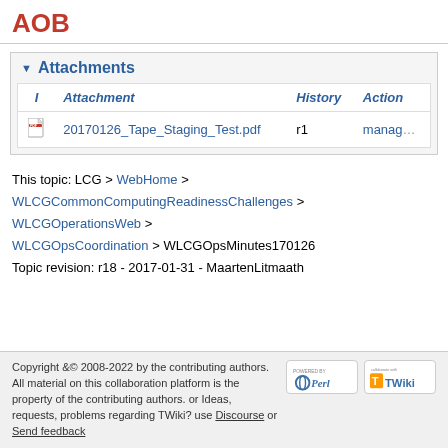AOB
▼ Attachments
| I | Attachment | History | Action |
| --- | --- | --- | --- |
| [pdf icon] | 20170126_Tape_Staging_Test.pdf | r1 | manage |
This topic: LCG > WebHome > WLCGCommonComputingReadinessChallenges > WLCGOperationsWeb > WLCGOpsCoordination > WLCGOpsMinutes170126
Topic revision: r18 - 2017-01-31 - MaartenLitmaath
Copyright &© 2008-2022 by the contributing authors. All material on this collaboration platform is the property of the contributing authors. or Ideas, requests, problems regarding TWiki? use Discourse or Send feedback